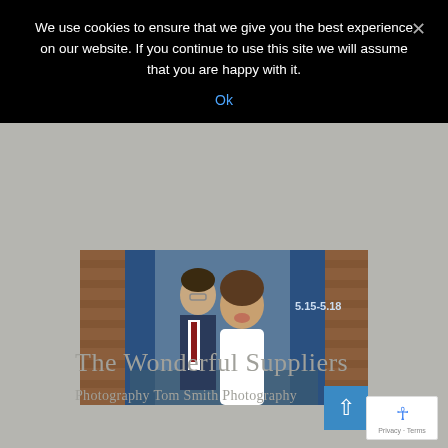We use cookies to ensure that we give you the best experience on our website. If you continue to use this site we will assume that you are happy with it.
Ok
[Figure (photo): Wedding photo of a couple standing in an alleyway with brick walls and blue doors. The groom wears a navy suit with a red tie, and the bride in a white lace dress is laughing. A sign in the background reads '5.15-5.18'.]
The Wonderful Suppliers
Photography Tom Smith Photography